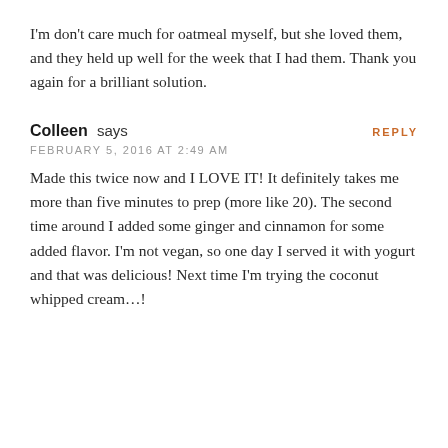I'm don't care much for oatmeal myself, but she loved them, and they held up well for the week that I had them. Thank you again for a brilliant solution.
REPLY
Colleen says
FEBRUARY 5, 2016 AT 2:49 AM
Made this twice now and I LOVE IT! It definitely takes me more than five minutes to prep (more like 20). The second time around I added some ginger and cinnamon for some added flavor. I'm not vegan, so one day I served it with yogurt and that was delicious! Next time I'm trying the coconut whipped cream…!